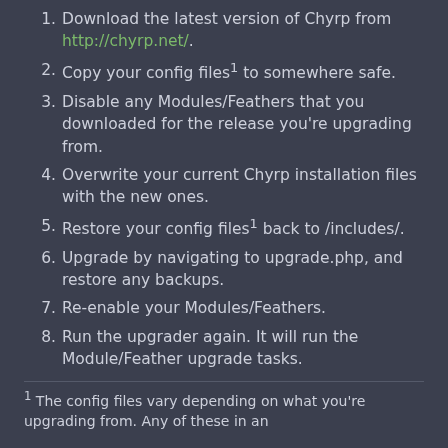1. Download the latest version of Chyrp from http://chyrp.net/.
2. Copy your config files¹ to somewhere safe.
3. Disable any Modules/Feathers that you downloaded for the release you're upgrading from.
4. Overwrite your current Chyrp installation files with the new ones.
5. Restore your config files¹ back to /includes/.
6. Upgrade by navigating to upgrade.php, and restore any backups.
7. Re-enable your Modules/Feathers.
8. Run the upgrader again. It will run the Module/Feather upgrade tasks.
¹ The config files vary depending on what you're upgrading from. Any of these in an...